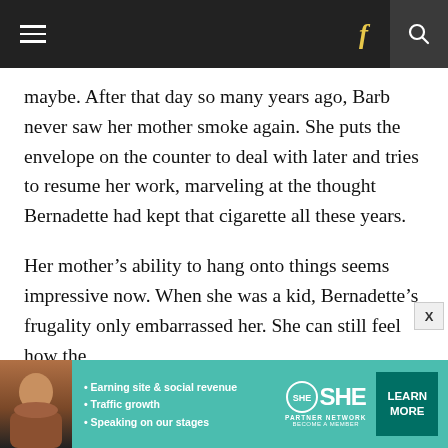Navigation bar with hamburger menu, Facebook icon, and search icon
maybe. After that day so many years ago, Barb never saw her mother smoke again. She puts the envelope on the counter to deal with later and tries to resume her work, marveling at the thought Bernadette had kept that cigarette all these years.
Her mother’s ability to hang onto things seems impressive now. When she was a kid, Bernadette’s frugality only embarrassed her. She can still feel how the
[Figure (advertisement): SHE Partner Network ad banner with woman photo, bullet points: Earning site & social revenue, Traffic growth, Speaking on our stages. Learn More button.]